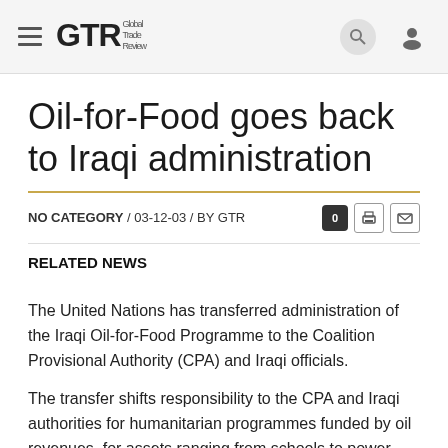GTR Global Trade Review
Oil-for-Food goes back to Iraqi administration
NO CATEGORY / 03-12-03 / BY GTR
RELATED NEWS
The United Nations has transferred administration of the Iraqi Oil-for-Food Programme to the Coalition Provisional Authority (CPA) and Iraqi officials.
The transfer shifts responsibility to the CPA and Iraqi authorities for humanitarian programmes funded by oil revenues, for assets ranging from schools to power stations